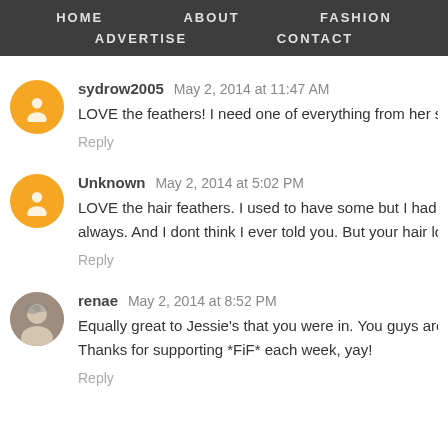HOME  ABOUT  FASHION  ADVERTISE  CONTACT
sydrow2005 May 2, 2014 at 11:47 AM
LOVE the feathers! I need one of everything from her shop!
Reply
Unknown May 2, 2014 at 5:02 PM
LOVE the hair feathers. I used to have some but I had to t always. And I dont think I ever told you. But your hair looks p
Reply
renae May 2, 2014 at 8:52 PM
Equally great to Jessie's that you were in. You guys are too Thanks for supporting *FiF* each week, yay!
Reply